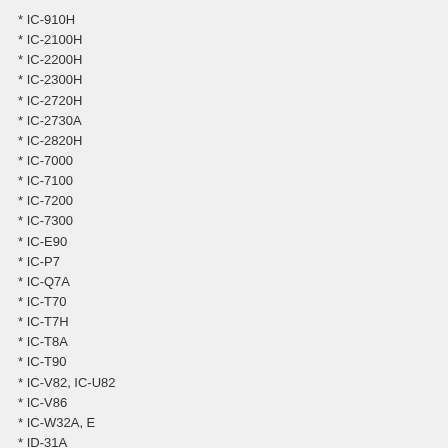* IC-910H
* IC-2100H
* IC-2200H
* IC-2300H
* IC-2720H
* IC-2730A
* IC-2820H
* IC-7000
* IC-7100
* IC-7200
* IC-7300
* IC-E90
* IC-P7
* IC-Q7A
* IC-T70
* IC-T7H
* IC-T8A
* IC-T90
* IC-V82, IC-U82
* IC-V86
* IC-W32A, E
* ID-31A
* ID-51, ID-51+
* ID-80H
* ID-800H
* ID-880H
* ID-RPx000V/RP2x
*Intek*
* HR-2040 _(use Anytone AT-5888UB)_
* KT-980HP _(Variant of Baofeng UV-5R)_